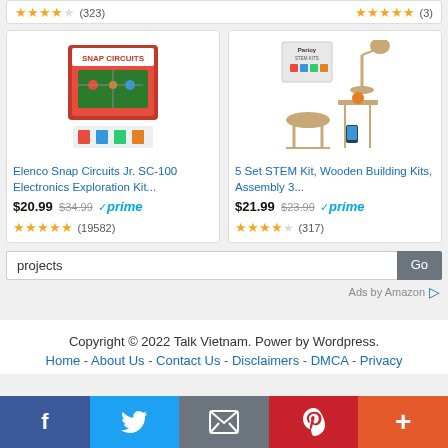★★★★☆ (323)  |  ★★★★★ (3)
[Figure (photo): Elenco Snap Circuits Jr. SC-100 Electronics Exploration Kit product box image]
Elenco Snap Circuits Jr. SC-100 Electronics Exploration Kit...
$20.99  $34.99  ✓prime
★★★★★ (19582)
[Figure (photo): 5 Set STEM Kit, Wooden Building Kits product image showing wooden furniture models]
5 Set STEM Kit, Wooden Building Kits, Assembly 3...
$21.99  $23.99  ✓prime
★★★★☆ (317)
projects
Go
Ads by Amazon ▷
Copyright © 2022 Talk Vietnam. Power by Wordpress.
Home - About Us - Contact Us - Disclaimers - DMCA - Privacy